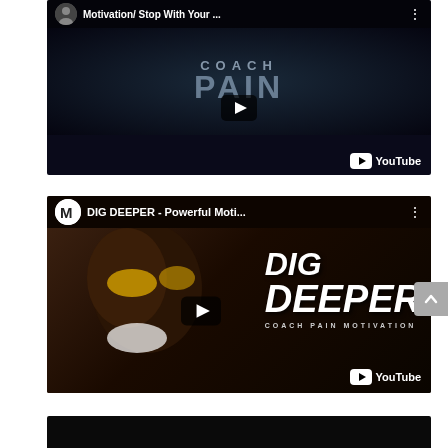[Figure (screenshot): YouTube video thumbnail for 'Motivation/ Stop With Your ...' by Coach Pain channel. Dark background with 'COACH PAIN' text in grunge style, play button in center, YouTube logo in bottom right.]
[Figure (screenshot): YouTube video thumbnail for 'DIG DEEPER - Powerful Moti...' showing a person in yellow goggles with 'DIG DEEPER / COACH PAIN MOTIVATION' text overlay, YouTube logo in bottom right. Scroll-to-top arrow button visible on right edge.]
[Figure (screenshot): Partially visible third YouTube video thumbnail at the bottom of the page, dark background.]